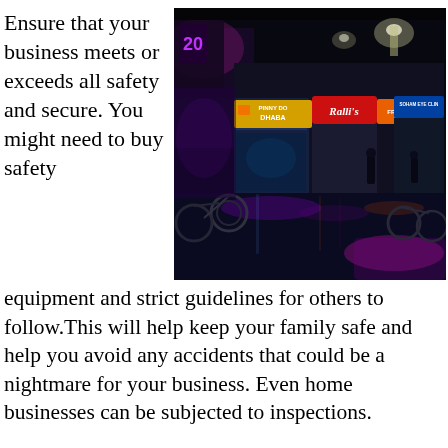Ensure that your business meets or exceeds all safety and secure. You might need to buy safety equipment and strict guidelines for others to follow.This will help keep your family safe and help you avoid any accidents that could be a nightmare for your business. Even home businesses can be subjected to inspections.
[Figure (photo): Night street scene showing illuminated storefronts including signs for 'Radhis', 'FRESH-O-UP', 'SOHAM EYE CLIN', and 'PINNY DO DHABA' with wet reflective pavement and parked bicycles in the foreground]